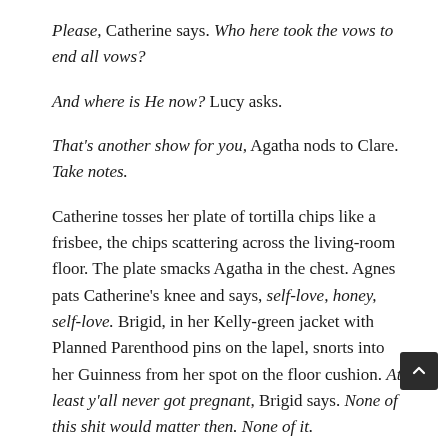Please, Catherine says. Who here took the vows to end all vows?
And where is He now? Lucy asks.
That's another show for you, Agatha nods to Clare. Take notes.
Catherine tosses her plate of tortilla chips like a frisbee, the chips scattering across the living-room floor. The plate smacks Agatha in the chest. Agnes pats Catherine's knee and says, self-love, honey, self-love. Brigid, in her Kelly-green jacket with Planned Parenthood pins on the lapel, snorts into her Guinness from her spot on the floor cushion. At least y'all never got pregnant, Brigid says. None of this shit would matter then. None of it.
Thérèse takes Catherine out to the back patio to bum a